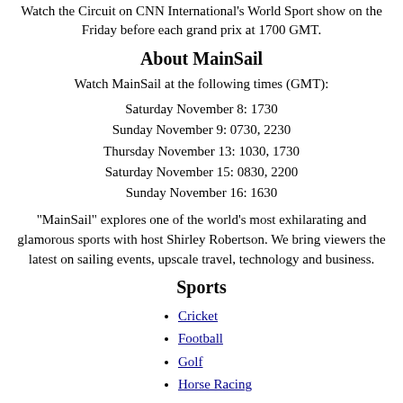Watch the Circuit on CNN International's World Sport show on the Friday before each grand prix at 1700 GMT.
About MainSail
Watch MainSail at the following times (GMT):
Saturday November 8: 1730
Sunday November 9: 0730, 2230
Thursday November 13: 1030, 1730
Saturday November 15: 0830, 2200
Sunday November 16: 1630
"MainSail" explores one of the world's most exhilarating and glamorous sports with host Shirley Robertson. We bring viewers the latest on sailing events, upscale travel, technology and business.
Sports
Cricket
Football
Golf
Horse Racing
Motorsport